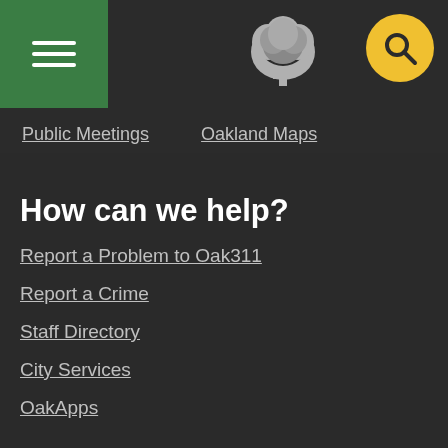City of Oakland navigation header with menu, tree logo, and search
Public Meetings
Oakland Maps
How can we help?
Report a Problem to Oak311
Report a Crime
Staff Directory
City Services
OakApps
Sign up for updates